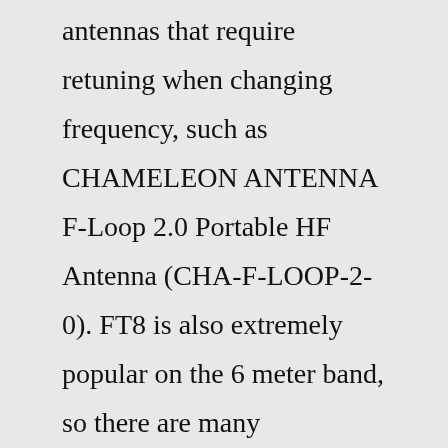antennas that require retuning when changing frequency, such as CHAMELEON ANTENNA F-Loop 2.0 Portable HF Antenna (CHA-F-LOOP-2-0). FT8 is also extremely popular on the 6 meter band, so there are many opportunities for long-distance communication even ...80m - 3.730 USB Analog SSTV, sometimes LSB 80m - 3.733 USB, Digital SSTV 40m - 7.171 USB (N7THX is probably right by saying use LSB. I've not had much SSTV experience